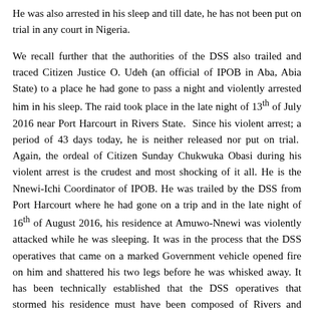He was also arrested in his sleep and till date, he has not been put on trial in any court in Nigeria.
We recall further that the authorities of the DSS also trailed and traced Citizen Justice O. Udeh (an official of IPOB in Aba, Abia State) to a place he had gone to pass a night and violently arrested him in his sleep. The raid took place in the late night of 13th of July 2016 near Port Harcourt in Rivers State. Since his violent arrest; a period of 43 days today, he is neither released nor put on trial. Again, the ordeal of Citizen Sunday Chukwuka Obasi during his violent arrest is the crudest and most shocking of it all. He is the Nnewi-Ichi Coordinator of IPOB. He was trailed by the DSS from Port Harcourt where he had gone on a trip and in the late night of 16th of August 2016, his residence at Amuwo-Nnewi was violently attacked while he was sleeping. It was in the process that the DSS operatives that came on a marked Government vehicle opened fire on him and shattered his two legs before he was whisked away. It has been technically established that the DSS operatives that stormed his residence must have been composed of Rivers and Anambra States Directorates. Till date, the condition of his gunshot wounds has not been ascertained and he has remained in DSS custody without trial. Amnesty International, based in UK, has already raised an international advocacy alarm and launched an “urgent action appeal” on his behalf.